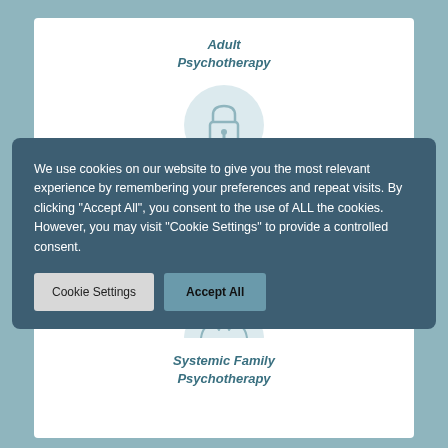Adult Psychotherapy
[Figure (illustration): Lock icon inside a light blue circle, representing privacy/confidentiality for adult psychotherapy]
We use cookies on our website to give you the most relevant experience by remembering your preferences and repeat visits. By clicking “Accept All”, you consent to the use of ALL the cookies. However, you may visit “Cookie Settings” to provide a controlled consent.
Cookie Settings
Accept All
[Figure (illustration): Hands cupped together icon inside a light blue circle, representing family/systemic therapy]
Systemic Family Psychotherapy